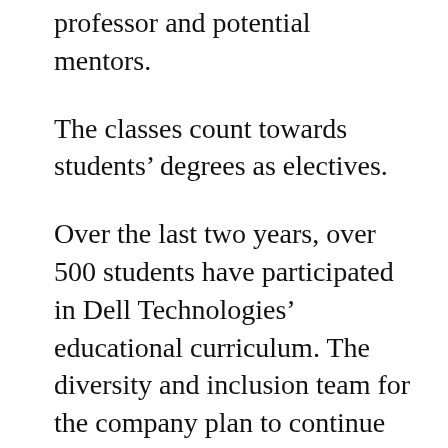professor and potential mentors.
The classes count towards students’ degrees as electives.
Over the last two years, over 500 students have participated in Dell Technologies’ educational curriculum. The diversity and inclusion team for the company plan to continue scaling the program, with intentions, to help more diverse students.
“We also realized that we need to be cautious as we scale so that we do not impact the quality of